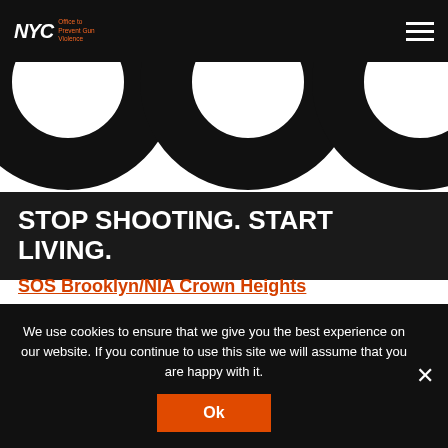NYC Office to Prevent Gun Violence
[Figure (illustration): Decorative graphic with large black circular shapes and small black squares on white background]
STOP SHOOTING. START LIVING.
SOS Brooklyn/NIA Crown Heights
1644 St. Johns
Brooklyn, NY 11233
718-773-6886 ext. 2
423 Gates Ave,
Brooklyn
We use cookies to ensure that we give you the best experience on our website. If you continue to use this site we will assume that you are happy with it.